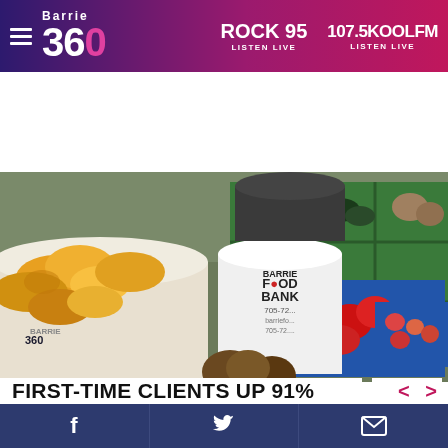Barrie 360 | ROCK 95 LISTEN LIVE | 107.5KOOLFM LISTEN LIVE
[Figure (photo): Food bank display with buckets and crates of produce including red peppers, squash, and other vegetables. A white bucket labeled 'Barrie Food Bank 705-72...' is visible in the center.]
FIRST-TIME CLIENTS UP 91%
Social share buttons: Facebook, Twitter, Email